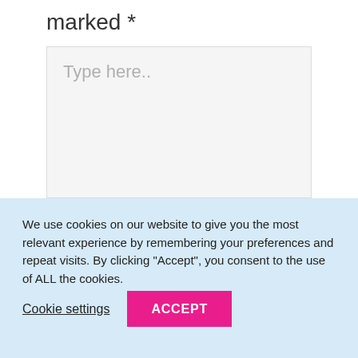marked *
[Figure (other): A large empty text input area with placeholder text 'Type here..']
We use cookies on our website to give you the most relevant experience by remembering your preferences and repeat visits. By clicking “Accept”, you consent to the use of ALL the cookies.
Cookie settings
ACCEPT